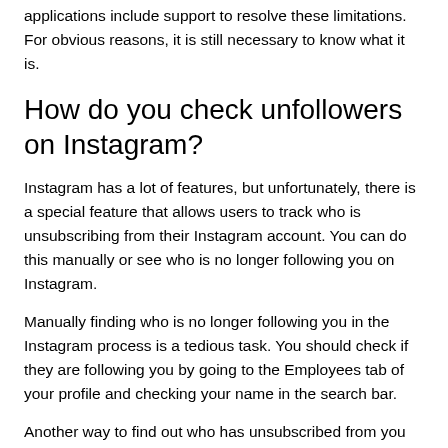applications include support to resolve these limitations. For obvious reasons, it is still necessary to know what it is.
How do you check unfollowers on Instagram?
Instagram has a lot of features, but unfortunately, there is a special feature that allows users to track who is unsubscribing from their Instagram account. You can do this manually or see who is no longer following you on Instagram.
Manually finding who is no longer following you in the Instagram process is a tedious task. You should check if they are following you by going to the Employees tab of your profile and checking your name in the search bar.
Another way to find out who has unsubscribed from you on Instagram is to go to the back tab of that person's profile and search